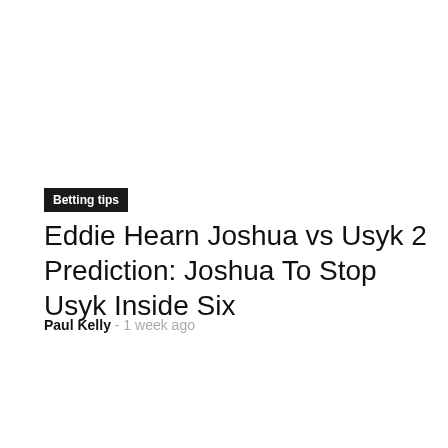Betting tips
Eddie Hearn Joshua vs Usyk 2 Prediction: Joshua To Stop Usyk Inside Six
Paul Kelly - 1 week ago